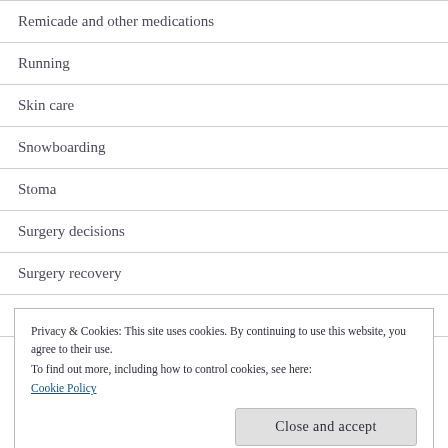Remicade and other medications
Running
Skin care
Snowboarding
Stoma
Surgery decisions
Surgery recovery
Swimming
Privacy & Cookies: This site uses cookies. By continuing to use this website, you agree to their use.
To find out more, including how to control cookies, see here:
Cookie Policy
Close and accept